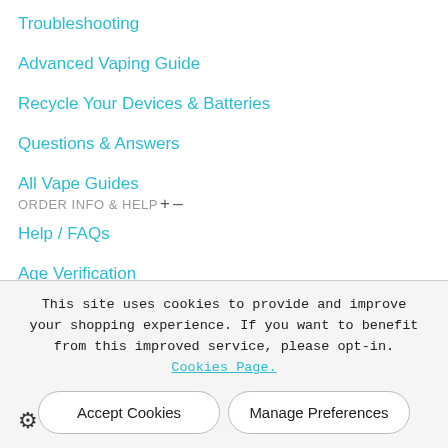Troubleshooting
Advanced Vaping Guide
Recycle Your Devices & Batteries
Questions & Answers
All Vape Guides
ORDER INFO & HELP + —
Help / FAQs
Age Verification
Payment Methods
This site uses cookies to provide and improve your shopping experience. If you want to benefit from this improved service, please opt-in. Cookies Page.
Accept Cookies
Manage Preferences